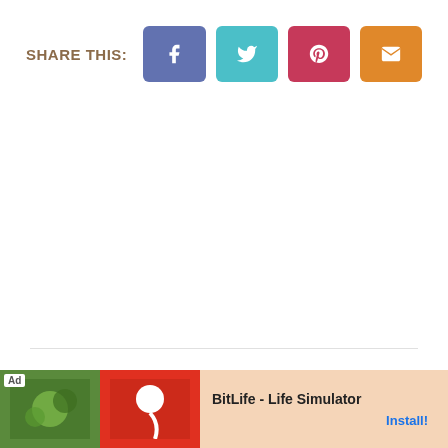SHARE THIS:
[Figure (infographic): Social share buttons: Facebook (blue-purple), Twitter (teal), Pinterest (crimson), Email (orange)]
HOW DO YOU SERVE THESE INSTANT POT LENTILS?
[Figure (screenshot): Ad banner for BitLife - Life Simulator app with green and red game imagery and Install! button]